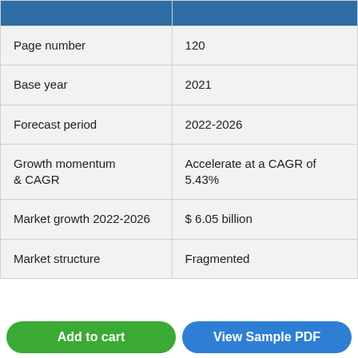|  |  |
| --- | --- |
| Page number | 120 |
| Base year | 2021 |
| Forecast period | 2022-2026 |
| Growth momentum & CAGR | Accelerate at a CAGR of 5.43% |
| Market growth 2022-2026 | $ 6.05 billion |
| Market structure | Fragmented |